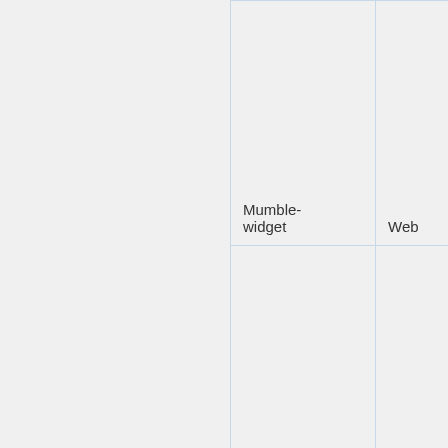| Mumble-widget | Web | JavaScript |
| Command Channel | Web | PHP/JavaScript Plus/Joomla |